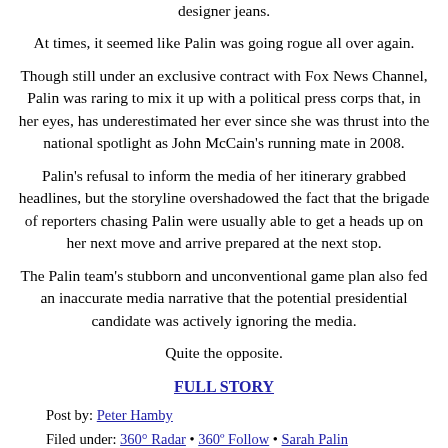designer jeans.
At times, it seemed like Palin was going rogue all over again.
Though still under an exclusive contract with Fox News Channel, Palin was raring to mix it up with a political press corps that, in her eyes, has underestimated her ever since she was thrust into the national spotlight as John McCain's running mate in 2008.
Palin's refusal to inform the media of her itinerary grabbed headlines, but the storyline overshadowed the fact that the brigade of reporters chasing Palin were usually able to get a heads up on her next move and arrive prepared at the next stop.
The Palin team's stubborn and unconventional game plan also fed an inaccurate media narrative that the potential presidential candidate was actively ignoring the media.
Quite the opposite.
FULL STORY
Post by: Peter Hamby
Filed under: 360° Radar • 360º Follow • Sarah Palin